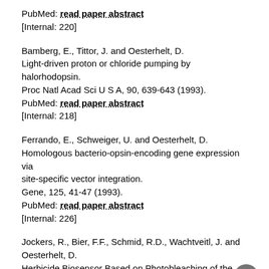PubMed: read paper abstract
[Internal: 220]
Bamberg, E., Tittor, J. and Oesterhelt, D. Light-driven proton or chloride pumping by halorhodopsin. Proc Natl Acad Sci U S A, 90, 639-643 (1993). PubMed: read paper abstract [Internal: 218]
Ferrando, E., Schweiger, U. and Oesterhelt, D. Homologous bacterio-opsin-encoding gene expression via site-specific vector integration. Gene, 125, 41-47 (1993). PubMed: read paper abstract [Internal: 226]
Jockers, R., Bier, F.F., Schmid, R.D., Wachtveitl, J. and Oesterhelt, D. Herbicide Biosensor Based on Photobleaching of the